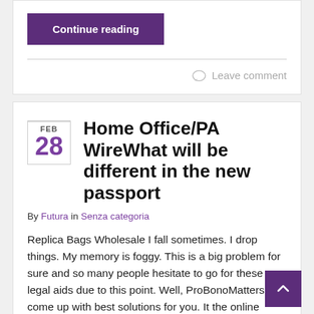Continue reading
Leave comment
Home Office/PA WireWhat will be different in the new passport
By Futura in Senza categoria
Replica Bags Wholesale I fall sometimes. I drop things. My memory is foggy. This is a big problem for sure and so many people hesitate to go for these legal aids due to this point. Well, ProBonoMatters has come up with best solutions for you. It the online platform that is for all. ...